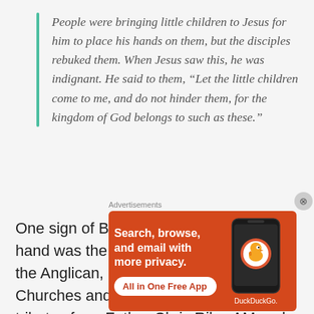People were bringing little children to Jesus for him to place his hands on them, but the disciples rebuked them. When Jesus saw this, he was indignant. He said to them, “Let the little children come to me, and do not hinder them, for the kingdom of God belongs to such as these.”
One sign of Barbara Holborow’s guiding hand was the involvement of clergy from the Anglican, Catholic and Uniting Churches and the Salvation Army. The tributes from Father Chris Riley AM and
Advertisements
[Figure (screenshot): DuckDuckGo advertisement banner on orange background with text 'Search, browse, and email with more privacy. All in One Free App' and a phone mockup showing the DuckDuckGo logo.]